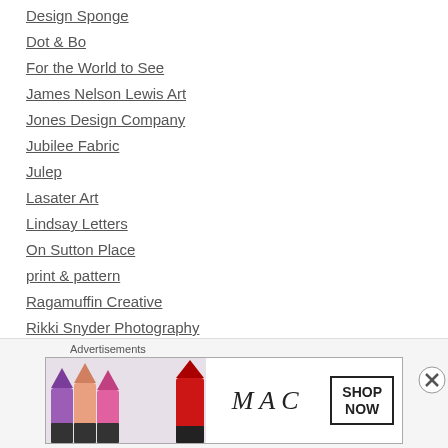Design Sponge
Dot & Bo
For the World to See
James Nelson Lewis Art
Jones Design Company
Jubilee Fabric
Julep
Lasater Art
Lindsay Letters
On Sutton Place
print & pattern
Ragamuffin Creative
Rikki Snyder Photography
Tart Workshop
Think.Make.Share.
Advertisements
[Figure (photo): MAC Cosmetics advertisement showing colorful lipsticks with SHOP NOW button]